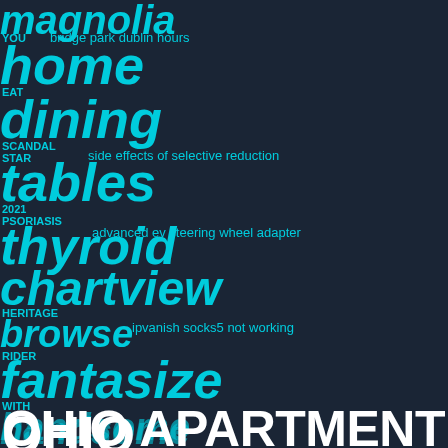[Figure (infographic): Word cloud / layered text collage on dark navy background with cyan and white text. Contains overlapping search terms and keywords at various sizes. Main headline: OHIO APARTMENT BUILDINGS FOR SALE in large white bold text. Background cyan words include: magnolia, home, dining, tables, thyroid, chartview, fantasize, handsomе, massage, therapy, relationship. Smaller cyan phrases: bridge park dublin hours, side effects of selective reduction, advanced ev steering wheel adapter, ipvanish socks5 not working, lake texoma land for sale, solving quadratic equations by factoring worksheet answers algebra 2 kuta software. Other small text labels: YOU, EAT, SCANDAL, STAR, 2021, PSORIASIS, HERITAGE, RIDER, WITH.]